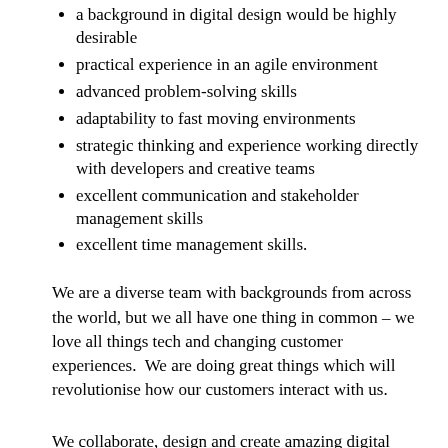a background in digital design would be highly desirable
practical experience in an agile environment
advanced problem-solving skills
adaptability to fast moving environments
strategic thinking and experience working directly with developers and creative teams
excellent communication and stakeholder management skills
excellent time management skills.
We are a diverse team with backgrounds from across the world, but we all have one thing in common – we love all things tech and changing customer experiences.  We are doing great things which will revolutionise how our customers interact with us.
We collaborate, design and create amazing digital products as well as constantly improving our current